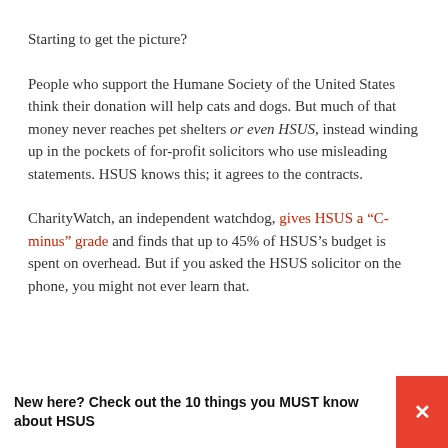Starting to get the picture?
People who support the Humane Society of the United States think their donation will help cats and dogs. But much of that money never reaches pet shelters or even HSUS, instead winding up in the pockets of for-profit solicitors who use misleading statements. HSUS knows this; it agrees to the contracts.
CharityWatch, an independent watchdog, gives HSUS a “C-minus” grade and finds that up to 45% of HSUS’s budget is spent on overhead. But if you asked the HSUS solicitor on the phone, you might not ever learn that.
New here? Check out the 10 things you MUST know about HSUS